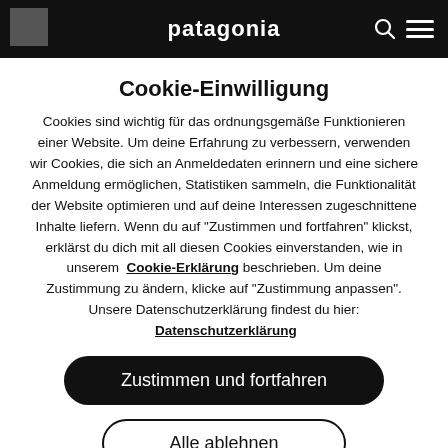[Figure (screenshot): Patagonia website header bar with logo, search icon, and menu icon on dark background]
Cookie-Einwilligung
Cookies sind wichtig für das ordnungsgemäße Funktionieren einer Website. Um deine Erfahrung zu verbessern, verwenden wir Cookies, die sich an Anmeldedaten erinnern und eine sichere Anmeldung ermöglichen, Statistiken sammeln, die Funktionalität der Website optimieren und auf deine Interessen zugeschnittene Inhalte liefern. Wenn du auf "Zustimmen und fortfahren" klickst, erklärst du dich mit all diesen Cookies einverstanden, wie in unserem Cookie-Erklärung beschrieben. Um deine Zustimmung zu ändern, klicke auf "Zustimmung anpassen". Unsere Datenschutzerklärung findest du hier: Datenschutzerklärung
Zustimmen und fortfahren
Alle ablehnen